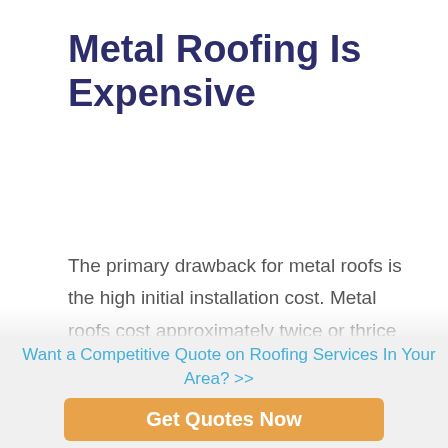Metal Roofing Is Expensive
The primary drawback for metal roofs is the high initial installation cost. Metal roofs cost approximately twice or thrice as high as other roofing materials.
You may recoup some of the costs with long durability. With high-
Want a Competitive Quote on Roofing Services In Your Area? >>
Get Quotes Now